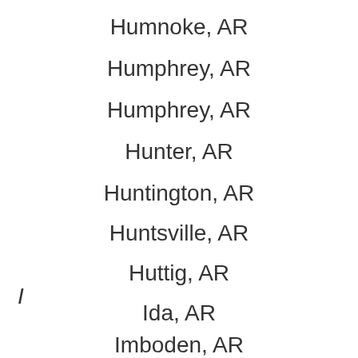Humnoke, AR
Humphrey, AR
Humphrey, AR
Hunter, AR
Huntington, AR
Huntsville, AR
Huttig, AR
I
Ida, AR
Imboden, AR
Imboden, AR